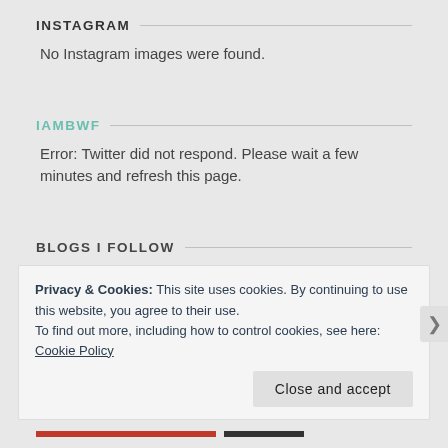INSTAGRAM
No Instagram images were found.
IAMBWF
Error: Twitter did not respond. Please wait a few minutes and refresh this page.
BLOGS I FOLLOW
Privacy & Cookies: This site uses cookies. By continuing to use this website, you agree to their use.
To find out more, including how to control cookies, see here: Cookie Policy
Close and accept